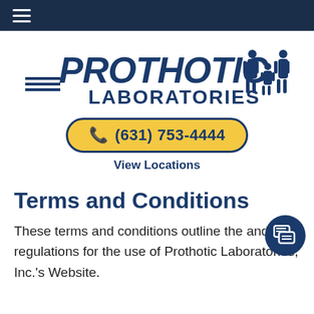≡ (hamburger navigation menu)
[Figure (logo): Prothotic Laboratories logo with blue italic text and family silhouettes on the right]
📞 (631) 753-4444
View Locations
Terms and Conditions
These terms and conditions outline the and regulations for the use of Prothotic Laboratories, Inc.'s Website.